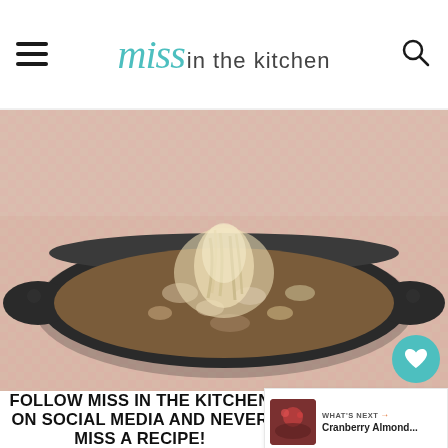Miss in the kitchen
[Figure (photo): A dark cast iron skillet/dish filled with what appears to be pulled chicken or meat with mushrooms and gravy, on a red and white checkered cloth background]
FOLLOW MISS IN THE KITCHEN ON SOCIAL MEDIA AND NEVER MISS A RECIPE!
[Figure (infographic): Whats Next panel: Cranberry Almond... with a food photo thumbnail]
[Figure (photo): Advertisement banner: SAUCES - GET THE BOX with food images]